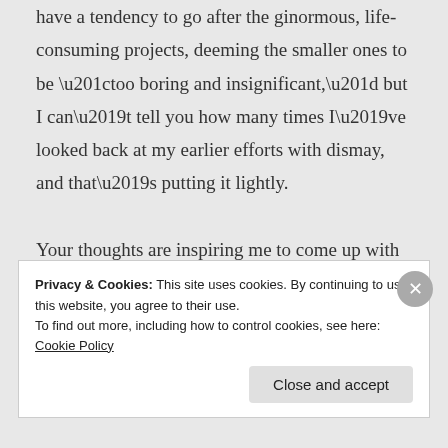have a tendency to go after the ginormous, life-consuming projects, deeming the smaller ones to be “too boring and insignificant,” but I can’t tell you how many times I’ve looked back at my earlier efforts with dismay, and that’s putting it lightly.

Your thoughts are inspiring me to come up with a more manageable goal (i.e. not taking over the entire world with my
Privacy & Cookies: This site uses cookies. By continuing to use this website, you agree to their use.
To find out more, including how to control cookies, see here: Cookie Policy